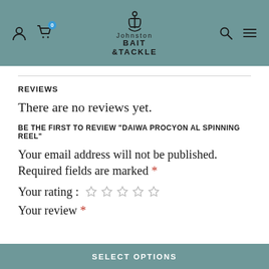[Figure (screenshot): Johnston Bait & Tackle website header with teal background, user icon, cart icon with badge 0, anchor logo, search icon, and hamburger menu icon]
REVIEWS
There are no reviews yet.
BE THE FIRST TO REVIEW “DAIWA PROCYON AL SPINNING REEL”
Your email address will not be published. Required fields are marked *
Your rating: ☆☆☆☆☆
Your review *
SELECT OPTIONS